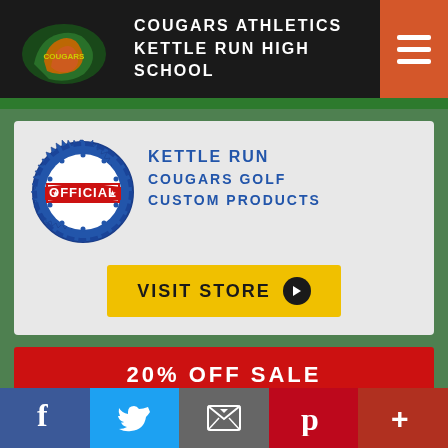COUGARS ATHLETICS KETTLE RUN HIGH SCHOOL
[Figure (logo): Official badge with OFFICIAL text in red and blue gear/seal design]
KETTLE RUN COUGARS GOLF CUSTOM PRODUCTS
[Figure (infographic): Yellow VISIT STORE button with arrow]
20% OFF SALE
[Figure (photo): Orange Kettle Run t-shirt with sale badge overlay]
f  Twitter  Email  p  +